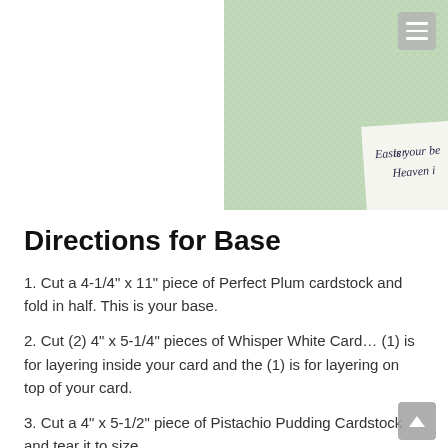[Figure (photo): Photo of light green textured cardstock with a partial view of a printed card that reads 'is your be...' and 'Heaven i...' in dark italic text, suggesting an Easter-themed card project.]
Directions for Base
1. Cut a 4-1/4" x 11" piece of Perfect Plum cardstock and fold in half.  This is your base.
2. Cut (2) 4" x 5-1/4" pieces of Whisper White Card… (1) is for layering inside your card and the (1) is for layering on top of your card.
3. Cut a 4" x 5-1/2" piece of Pistachio Pudding Cardstock and tear it to size.
Tip: You want to cut your Pistachio Pudding cardstock a bit long so that you can size it on your card and hand